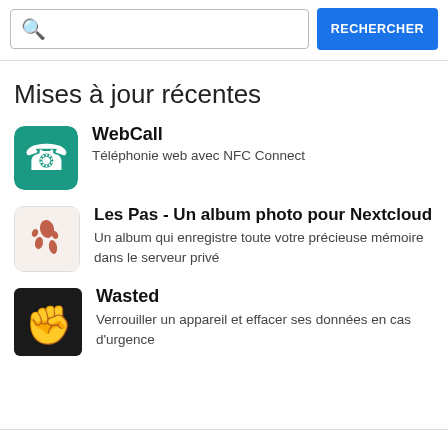[Figure (screenshot): Search bar with magnifying glass icon and a blue RECHERCHER button]
Mises à jour récentes
WebCall — Téléphonie web avec NFC Connect
Les Pas - Un album photo pour Nextcloud — Un album qui enregistre toute votre précieuse mémoire dans le serveur privé
Wasted — Verrouiller un appareil et effacer ses données en cas d'urgence